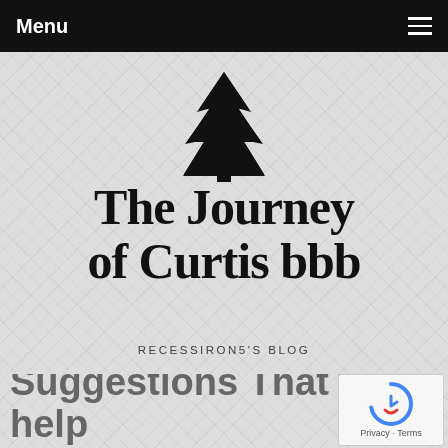Menu
[Figure (logo): Pine tree silhouette logo followed by handwritten-style text 'The Journey of Curtis bbb' with subtitle 'RECESSIRON5'S BLOG']
Suggestions That will help